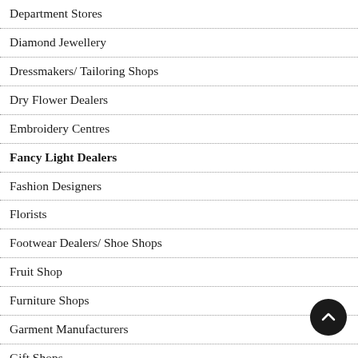Department Stores
Diamond Jewellery
Dressmakers/ Tailoring Shops
Dry Flower Dealers
Embroidery Centres
Fancy Light Dealers
Fashion Designers
Florists
Footwear Dealers/ Shoe Shops
Fruit Shop
Furniture Shops
Garment Manufacturers
Gift Shops
Grocers And Provision Stores
Handicrafts
Herbal/ Ayurvedic Products
Home Appliances